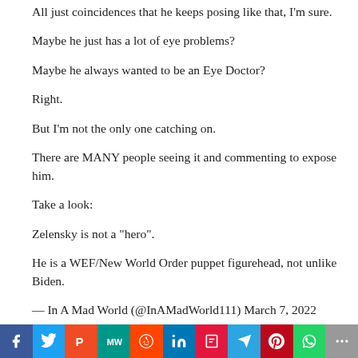All just coincidences that he keeps posing like that, I'm sure.
Maybe he just has a lot of eye problems?
Maybe he always wanted to be an Eye Doctor?
Right.
But I'm not the only one catching on.
There are MANY people seeing it and commenting to expose him.
Take a look:
Zelensky is not a "hero".
He is a WEF/New World Order puppet figurehead, not unlike Biden.
— In A Mad World (@InAMadWorld111) March 7, 2022